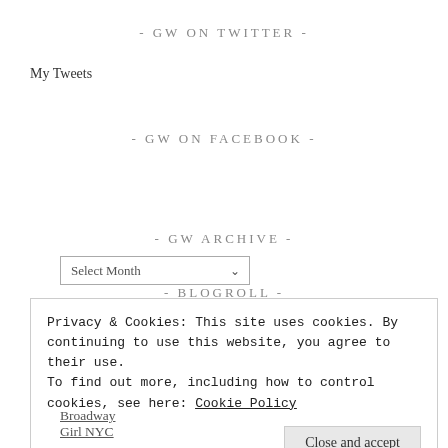- GW ON TWITTER -
My Tweets
- GW ON FACEBOOK -
- GW ARCHIVE -
Select Month
- BLOGROLL -
Privacy & Cookies: This site uses cookies. By continuing to use this website, you agree to their use.
To find out more, including how to control cookies, see here: Cookie Policy
Close and accept
Broadway Girl NYC